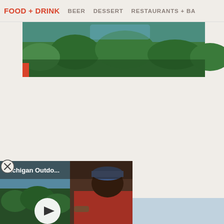FOOD + DRINK   BEER   DESSERT   RESTAURANTS + BA
[Figure (photo): Partial top image showing forest/outdoor scene with red strip overlay on left side]
[Figure (screenshot): Video popup overlay showing 'Michigan Outdo...' title, outdoor scene with person in red shirt, play button in center]
Italy
[Figure (photo): Bottom partial image showing light blue/sky background with white object on left]